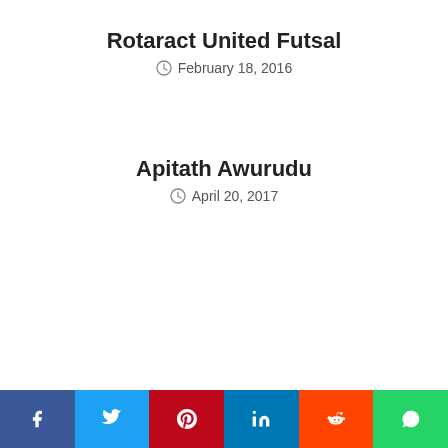Rotaract United Futsal
February 18, 2016
Apitath Awurudu
April 20, 2017
Leave a Reply
Your comment here...